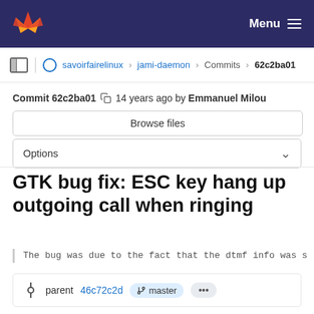Menu
savoirfairelinux > jami-daemon > Commits > 62c2ba01
Commit 62c2ba01  14 years ago by Emmanuel Milou
Browse files
Options
GTK bug fix: ESC key hang up outgoing call when ringing
The bug was due to the fact that the dtmf info was s
parent 46c72c2d  master  ...